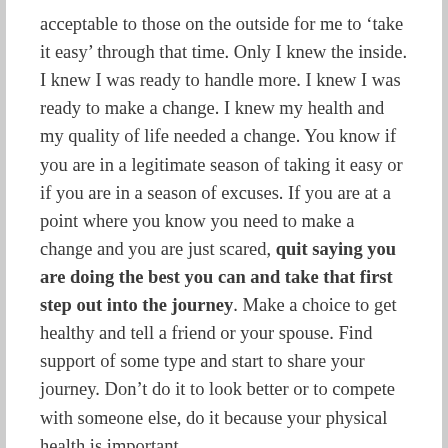acceptable to those on the outside for me to ‘take it easy’ through that time. Only I knew the inside. I knew I was ready to handle more. I knew I was ready to make a change. I knew my health and my quality of life needed a change. You know if you are in a legitimate season of taking it easy or if you are in a season of excuses. If you are at a point where you know you need to make a change and you are just scared, quit saying you are doing the best you can and take that first step out into the journey. Make a choice to get healthy and tell a friend or your spouse. Find support of some type and start to share your journey. Don’t do it to look better or to compete with someone else, do it because your physical health is important.
I would love it if you even let this be your first step—comment below and tell me what phase you are in. Is